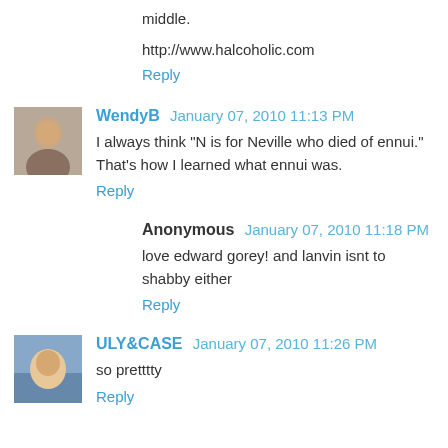middle.
http://www.halcoholic.com
Reply
WendyB  January 07, 2010 11:13 PM
I always think "N is for Neville who died of ennui." That's how I learned what ennui was.
Reply
Anonymous  January 07, 2010 11:18 PM
love edward gorey! and lanvin isnt to shabby either
Reply
ULY&CASE  January 07, 2010 11:26 PM
so pretttty
Reply